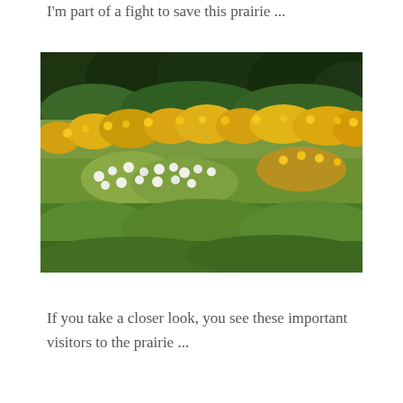I'm part of a fight to save this prairie ...
[Figure (photo): Outdoor prairie landscape photograph showing green grass in the foreground, white wildflowers in the middle ground, bright yellow flowers (possibly sunflowers or black-eyed Susans) further back, and dark green trees along the horizon under a bright sky.]
If you take a closer look, you see these important visitors to the prairie ...